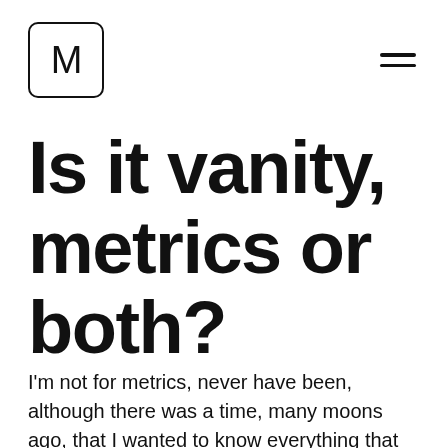M
Is it vanity, metrics or both?
I'm not for metrics, never have been, although there was a time, many moons ago, that I wanted to know everything that happened on